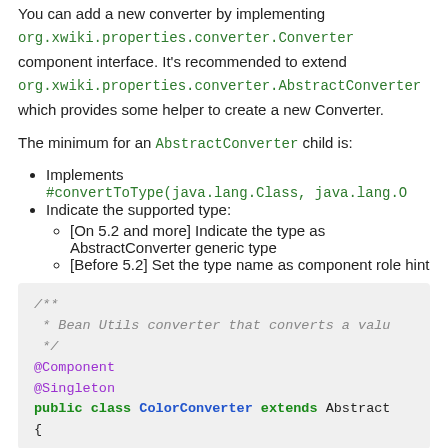You can add a new converter by implementing org.xwiki.properties.converter.Converter component interface. It's recommended to extend org.xwiki.properties.converter.AbstractConverter which provides some helper to create a new Converter.
The minimum for an AbstractConverter child is:
Implements #convertToType(java.lang.Class, java.lang.O
Indicate the supported type:
[On 5.2 and more] Indicate the type as AbstractConverter generic type
[Before 5.2] Set the type name as component role hint
[Figure (screenshot): Code block showing Java class ColorConverter with @Component, @Singleton annotations and JavaDoc comment: Bean Utils converter that converts a valu...]